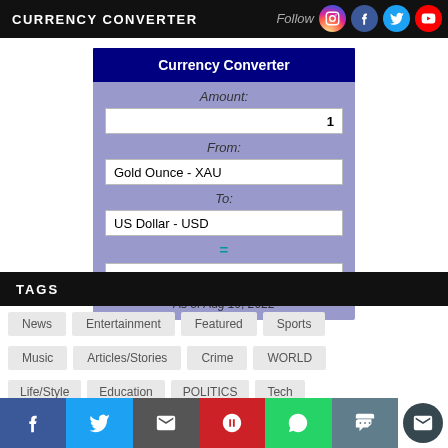CURRENCY CONVERTER
[Figure (screenshot): Currency Converter widget showing Amount: 1, From: Gold Ounce - XAU, To: US Dollar - USD, Result: 1755.90, As of Aug 19, 2022]
TAGS
News
Entertainment
Featured
Sports
Music
Articles/Stories
Crime
WORLD
Life/Style
Education
POLITICS
Tech